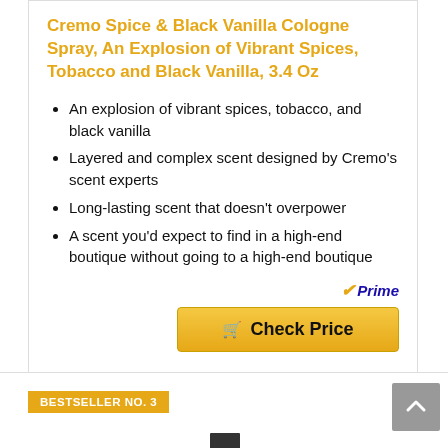Cremo Spice & Black Vanilla Cologne Spray, An Explosion of Vibrant Spices, Tobacco and Black Vanilla, 3.4 Oz
An explosion of vibrant spices, tobacco, and black vanilla
Layered and complex scent designed by Cremo's scent experts
Long-lasting scent that doesn't overpower
A scent you'd expect to find in a high-end boutique without going to a high-end boutique
Prime
Check Price
BESTSELLER NO. 3